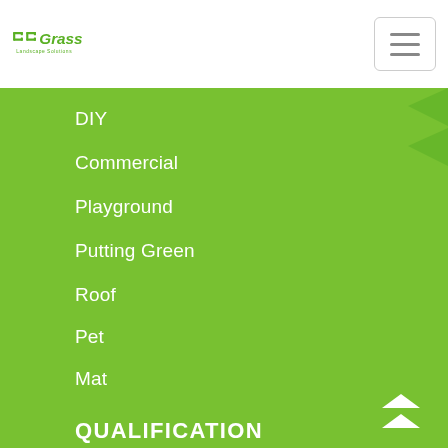CCGrass Landscape Solutions
DIY
Commercial
Playground
Putting Green
Roof
Pet
Mat
QUALIFICATION
UV Defender
Health Protector
Other Qualifications
GALLERY